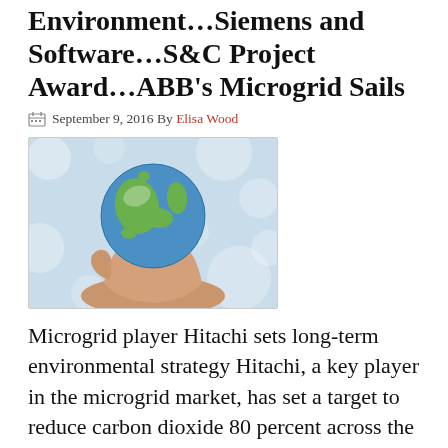Microgrid Player Hitachi on the Environment…Siemens and Software…S&C Project Award…ABB's Microgrid Sails
September 9, 2016 By Elisa Wood
[Figure (photo): A hand holding a globe against a light blue bokeh background]
Microgrid player Hitachi sets long-term environmental strategy Hitachi, a key player in the microgrid market, has set a target to reduce carbon dioxide 80 percent across the company's value chain as part of a new long-term environmental strategy.